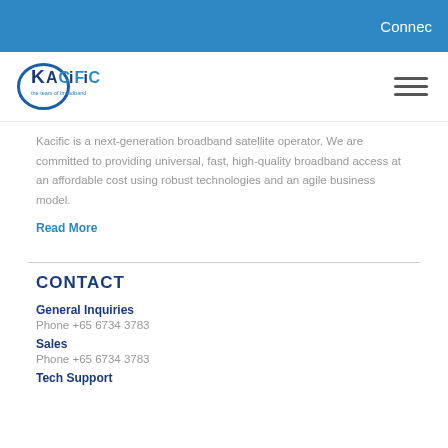Connec
[Figure (logo): Kacific logo with tagline 'the team of broadband']
Kacific is a next-generation broadband satellite operator. We are committed to providing universal, fast, high-quality broadband access at an affordable cost using robust technologies and an agile business model.
Read More
CONTACT
General Inquiries
Phone +65 6734 3783
Sales
Phone +65 6734 3783
Tech Support